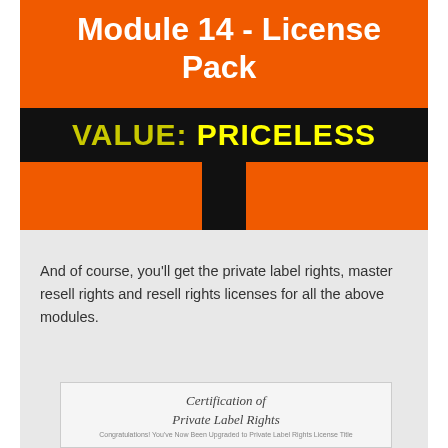Module 14 - License Pack
[Figure (infographic): Black banner on orange background with text VALUE: PRICELESS in yellow, with a T-shaped post below forming a price tag shape]
And of course, you'll get the private label rights, master resell rights and resell rights licenses for all the above modules.
[Figure (illustration): Certification of Private Label Rights certificate document image]